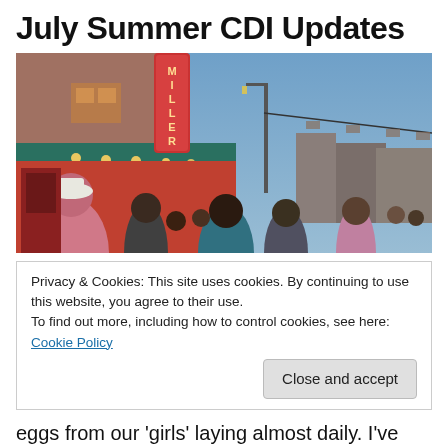July Summer CDI Updates
[Figure (photo): Evening street scene showing Miller's theater with red neon vertical sign, crowd of people on sidewalk, storefronts with lights, street lamps visible in background.]
Privacy & Cookies: This site uses cookies. By continuing to use this website, you agree to their use.
To find out more, including how to control cookies, see here: Cookie Policy
Close and accept
eggs from our 'girls' laying almost daily. I've had a relaxing